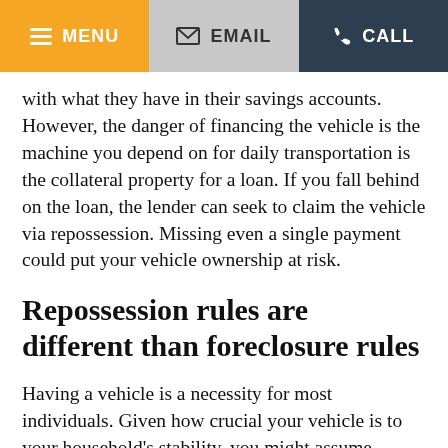MENU | EMAIL | CALL
with what they have in their savings accounts. However, the danger of financing the vehicle is the machine you depend on for daily transportation is the collateral property for a loan. If you fall behind on the loan, the lender can seek to claim the vehicle via repossession. Missing even a single payment could put your vehicle ownership at risk.
Repossession rules are different than foreclosure rules
Having a vehicle is a necessity for most individuals. Given how crucial your vehicle is to your household's stability, you might assume